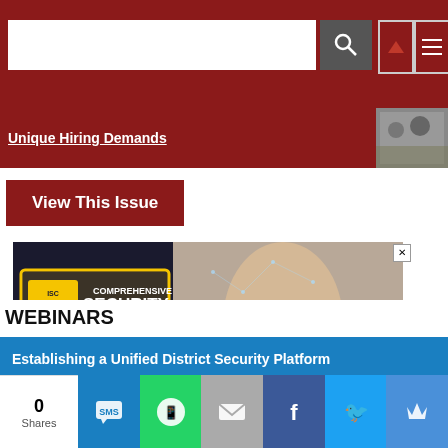[Figure (screenshot): Navigation bar with search input field, search button, up-arrow button, and hamburger menu button on dark red background]
Unique Hiring Demands
[Figure (photo): Small thumbnail image of people]
View This Issue
[Figure (infographic): ISC West 2023 advertisement banner: COMPREHENSIVE SECURITY FOR A SAFER, CONNECTED WORLD. March 28-30, Las Vegas. SIA Education@ISC March 28-30, Exhibit Hall March 29-31. BE THE FIRST TO KNOW WHEN REGISTRATION OPENS at ISCWEST.com/PREREGIS]
WEBINARS
Establishing a Unified District Security Platform
Venue Safety & Security Best Practices
[Figure (screenshot): Social sharing bar with 0 Shares count, SMS, WhatsApp, Email, Facebook, Twitter, and Crown/Flipboard buttons]